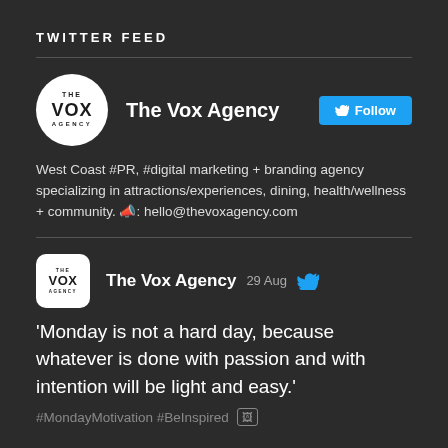TWITTER FEED
[Figure (screenshot): The Vox Agency Twitter profile card with circular logo, account name, Follow button, and bio text]
West Coast #PR, #digital marketing + branding agency specializing in attractions/experiences, dining, health/wellness + community. 📣: hello@thevoxagency.com
[Figure (screenshot): The Vox Agency tweet from 29 Aug with square logo and Twitter bird icon]
'Monday is not a hard day, because whatever is done with passion and with intention will be light and easy.' #MondayMotivation #BeInspired